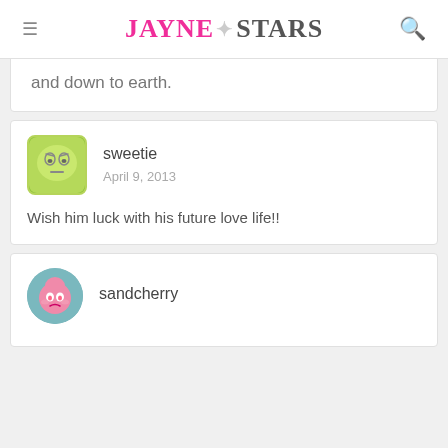JAYNE STARS
and down to earth.
sweetie
April 9, 2013
Wish him luck with his future love life!!
sandcherry